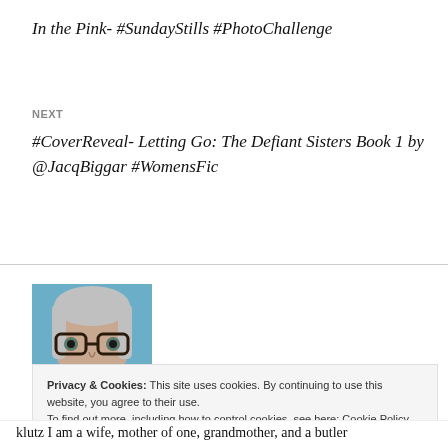In the Pink- #SundayStills #PhotoChallenge
NEXT
#CoverReveal- Letting Go: The Defiant Sisters Book 1 by @JacqBiggar #WomensFic
[Figure (photo): Author photo showing a woman with gray hair and dark-rimmed glasses against a blue background]
Privacy & Cookies: This site uses cookies. By continuing to use this website, you agree to their use.
To find out more, including how to control cookies, see here: Cookie Policy
Close and accept
klutz I am a wife, mother of one, grandmother, and a butler